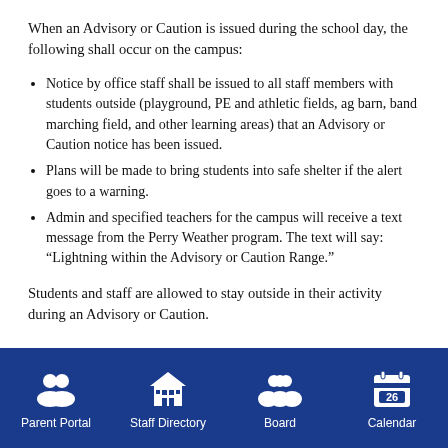When an Advisory or Caution is issued during the school day, the following shall occur on the campus:
Notice by office staff shall be issued to all staff members with students outside (playground, PE and athletic fields, ag barn, band marching field, and other learning areas) that an Advisory or Caution notice has been issued.
Plans will be made to bring students into safe shelter if the alert goes to a warning.
Admin and specified teachers for the campus will receive a text message from the Perry Weather program. The text will say: “Lightning within the Advisory or Caution Range.”
Students and staff are allowed to stay outside in their activity during an Advisory or Caution.
Parent Portal | Staff Directory | Board | Calendar